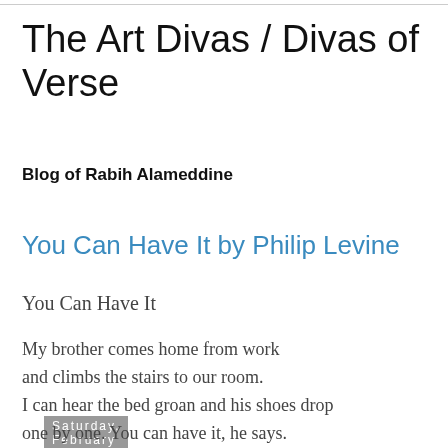The Art Divas / Divas of Verse
Blog of Rabih Alameddine
Saturday, February 28, 2015
You Can Have It by Philip Levine
You Can Have It
My brother comes home from work
and climbs the stairs to our room.
I can hear the bed groan and his shoes drop
one by one. You can have it, he says.
The moonlight streams in the window
and his unshaven face is whitened
like the face of the moon. He will sleep